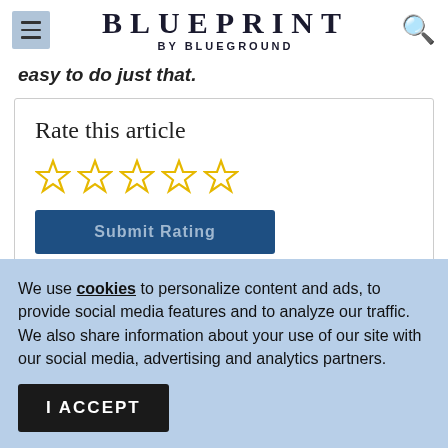BLUEPRINT BY BLUEGROUND
easy to do just that.
Rate this article
[Figure (other): Five empty star rating widgets in gold outline style]
Submit Rating
We use cookies to personalize content and ads, to provide social media features and to analyze our traffic. We also share information about your use of our site with our social media, advertising and analytics partners.
I ACCEPT